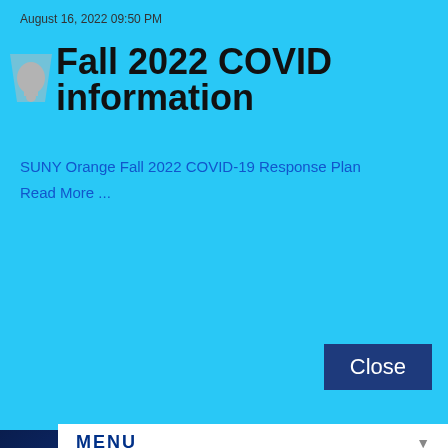August 16, 2022 09:50 PM
Fall 2022 COVID information
SUNY Orange Fall 2022 COVID-19 Response Plan
Read More ...
Close
MENU
[Figure (logo): SUNY Orange logo with large orange stylized O and white text reading SUNY ORANGE]
Middletown Campus
115 South Street
Middletown, NY 10940
Newburgh Campus
One Washington Center
Newburgh, NY 12550